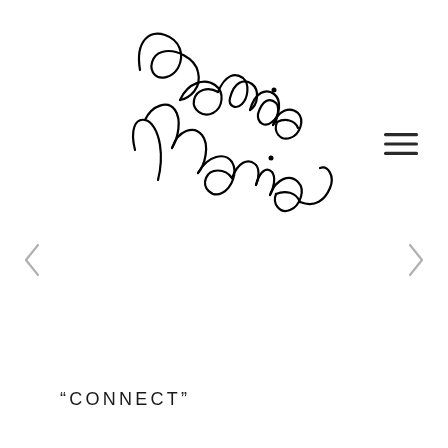[Figure (illustration): Cursive/calligraphy signature logo reading 'Bonnie Marie' in flowing black ink script]
[Figure (other): Hamburger menu icon — three horizontal parallel lines stacked vertically, dark grey/black]
[Figure (other): Left arrow chevron navigation control, light grey]
[Figure (other): Right arrow chevron navigation control, light grey]
"CONNECT"